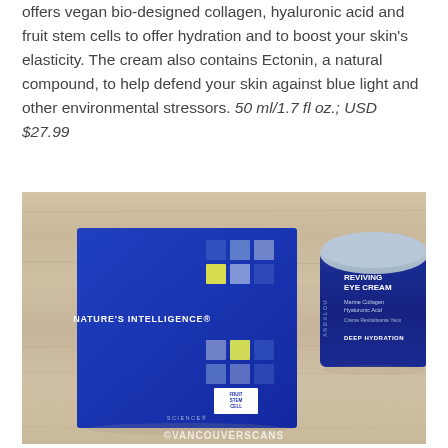offers vegan bio-designed collagen, hyaluronic acid and fruit stem cells to offer hydration and to boost your skin's elasticity. The cream also contains Ectonin, a natural compound, to help defend your skin against blue light and other environmental stressors. 50 ml/1.7 fl oz.; USD $27.99
[Figure (photo): Photo of Andalou Naturals Reviving Eye Cream jar and its blue box (Nature's Intelligence) on a wood surface, with ©VANCOUVERSCANS watermark]